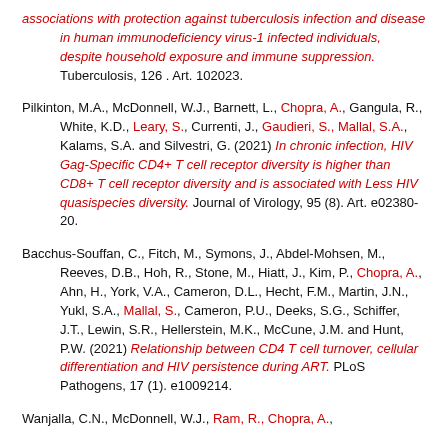associations with protection against tuberculosis infection and disease in human immunodeficiency virus-1 infected individuals, despite household exposure and immune suppression. Tuberculosis, 126 . Art. 102023.
Pilkinton, M.A., McDonnell, W.J., Barnett, L., Chopra, A., Gangula, R., White, K.D., Leary, S., Currenti, J., Gaudieri, S., Mallal, S.A., Kalams, S.A. and Silvestri, G. (2021) In chronic infection, HIV Gag-Specific CD4+ T cell receptor diversity is higher than CD8+ T cell receptor diversity and is associated with Less HIV quasispecies diversity. Journal of Virology, 95 (8). Art. e02380-20.
Bacchus-Souffan, C., Fitch, M., Symons, J., Abdel-Mohsen, M., Reeves, D.B., Hoh, R., Stone, M., Hiatt, J., Kim, P., Chopra, A., Ahn, H., York, V.A., Cameron, D.L., Hecht, F.M., Martin, J.N., Yukl, S.A., Mallal, S., Cameron, P.U., Deeks, S.G., Schiffer, J.T., Lewin, S.R., Hellerstein, M.K., McCune, J.M. and Hunt, P.W. (2021) Relationship between CD4 T cell turnover, cellular differentiation and HIV persistence during ART. PLoS Pathogens, 17 (1). e1009214.
Wanjalla, C.N., McDonnell, W.J., Ram, R., Chopra, A.,